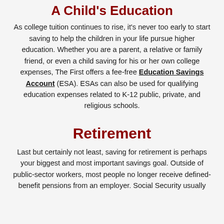A Child's Education
As college tuition continues to rise, it's never too early to start saving to help the children in your life pursue higher education. Whether you are a parent, a relative or family friend, or even a child saving for his or her own college expenses, The First offers a fee-free Education Savings Account (ESA). ESAs can also be used for qualifying education expenses related to K-12 public, private, and religious schools.
Retirement
Last but certainly not least, saving for retirement is perhaps your biggest and most important savings goal. Outside of public-sector workers, most people no longer receive defined-benefit pensions from an employer. Social Security usually